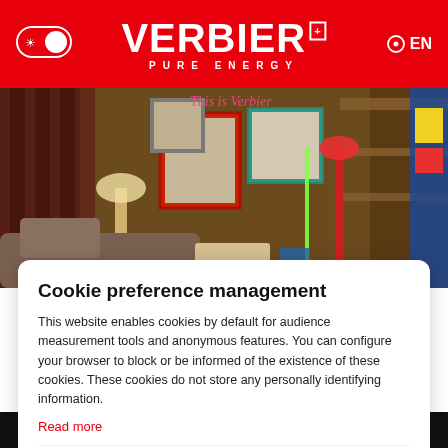[Figure (screenshot): Verbier Pure Energy website header with red background, logo, toggle switch, and EN language selector]
[Figure (photo): Interior of a cozy alpine chalet with wooden walls, framed pictures, neon sign reading 'This is Verbier', decorative items, and ski equipment]
Cookie preference management
This website enables cookies by default for audience measurement tools and anonymous features. You can configure your browser to block or be informed of the existence of these cookies. These cookies do not store any personally identifying information.
Read more
I choose
Ok for me
summer with new characters who are just us